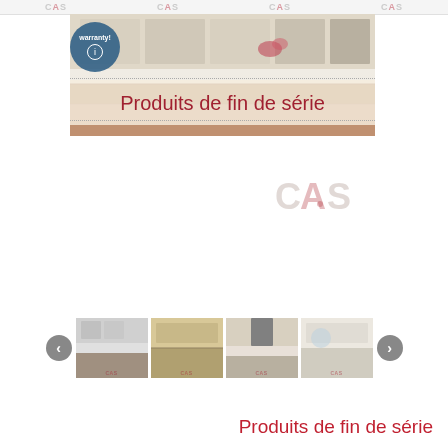CAS CAS CAS CAS
[Figure (photo): Main banner showing kitchen interior with white cabinets, countertops and backsplash tile, with warranty badge overlay and semi-transparent title overlay]
Produits de fin de série
[Figure (logo): CAS watermark logo in center of page]
[Figure (photo): Thumbnail carousel with four kitchen interior photos, left and right navigation arrows, and CAS watermarks on each thumbnail]
Produits de fin de série